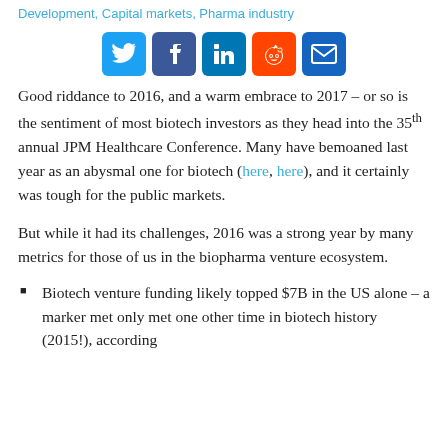Development, Capital markets, Pharma industry
[Figure (infographic): Social sharing icons: Twitter, Facebook, LinkedIn, Reddit, Email]
Good riddance to 2016, and a warm embrace to 2017 – or so is the sentiment of most biotech investors as they head into the 35th annual JPM Healthcare Conference. Many have bemoaned last year as an abysmal one for biotech (here, here), and it certainly was tough for the public markets.
But while it had its challenges, 2016 was a strong year by many metrics for those of us in the biopharma venture ecosystem.
Biotech venture funding likely topped $7B in the US alone – a marker met only met one other time in biotech history (2015!), according